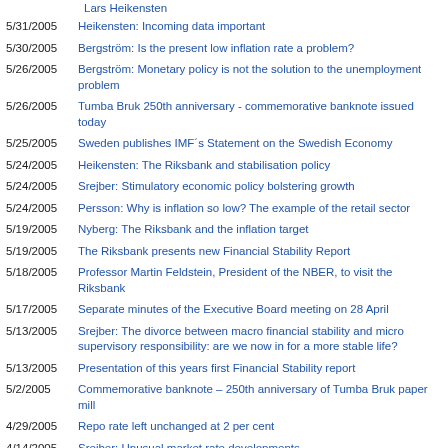Lars Heikensten
5/31/2005 | Heikensten: Incoming data important
5/30/2005 | Bergström: Is the present low inflation rate a problem?
5/26/2005 | Bergström: Monetary policy is not the solution to the unemployment problem
5/26/2005 | Tumba Bruk 250th anniversary - commemorative banknote issued today
5/25/2005 | Sweden publishes IMF´s Statement on the Swedish Economy
5/24/2005 | Heikensten: The Riksbank and stabilisation policy
5/24/2005 | Srejber: Stimulatory economic policy bolstering growth
5/24/2005 | Persson: Why is inflation so low? The example of the retail sector
5/19/2005 | Nyberg: The Riksbank and the inflation target
5/19/2005 | The Riksbank presents new Financial Stability Report
5/18/2005 | Professor Martin Feldstein, President of the NBER, to visit the Riksbank
5/17/2005 | Separate minutes of the Executive Board meeting on 28 April
5/13/2005 | Srejber: The divorce between macro financial stability and micro supervisory responsibility: are we now in for a more stable life?
5/13/2005 | Presentation of this years first Financial Stability report
5/2/2005 | Commemorative banknote – 250th anniversary of Tumba Bruk paper mill
4/29/2005 | Repo rate left unchanged at 2 per cent
4/14/2005 | Srejber: Unusual market rate developments